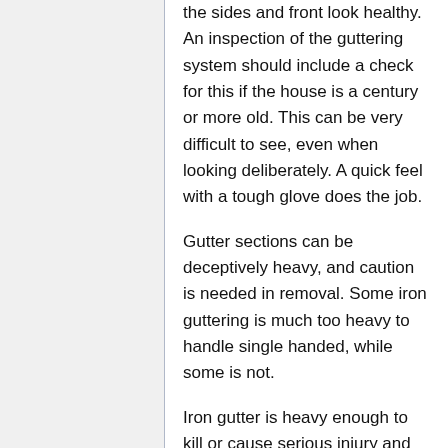the sides and front look healthy. An inspection of the guttering system should include a check for this if the house is a century or more old. This can be very difficult to see, even when looking deliberately. A quick feel with a tough glove does the job.
Gutter sections can be deceptively heavy, and caution is needed in removal. Some iron guttering is much too heavy to handle single handed, while some is not.
Iron gutter is heavy enough to kill or cause serious injury and guttering found hanging at an unhealthy angle should not be neglected.
Iron gutter is still in production, and is not as expensive as often assumed. If you're keen to have a gutter that will never need attention in your own lifetime, iron